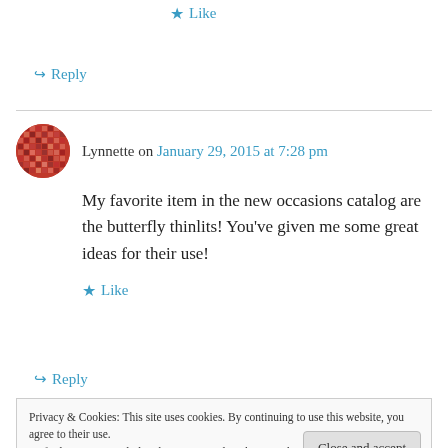★ Like
↪ Reply
Lynnette on January 29, 2015 at 7:28 pm
My favorite item in the new occasions catalog are the butterfly thinlits! You've given me some great ideas for their use!
★ Like
↪ Reply
Privacy & Cookies: This site uses cookies. By continuing to use this website, you agree to their use.
To find out more, including how to control cookies, see here: Cookie Policy
Close and accept
that.